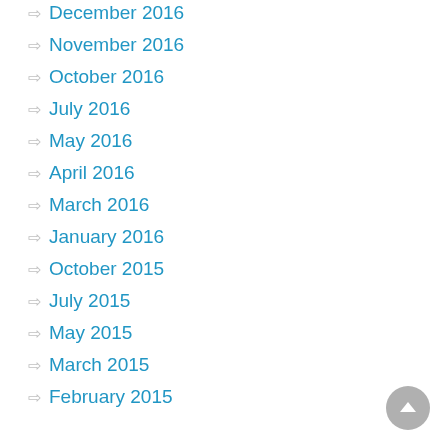December 2016
November 2016
October 2016
July 2016
May 2016
April 2016
March 2016
January 2016
October 2015
July 2015
May 2015
March 2015
February 2015